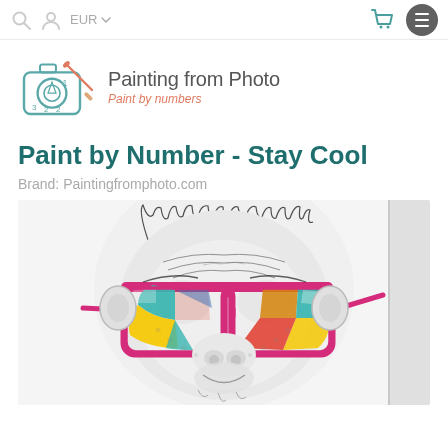EUR navigation bar with search, account, currency selector, cart and menu icons
[Figure (logo): Painting from Photo logo — camera with paintbrush icon and text 'Painting from Photo / Paint by numbers']
Paint by Number - Stay Cool
Brand: Paintingfromphoto.com
[Figure (photo): Product photo of a paint-by-numbers canvas showing a pop-art style monkey/ape wearing large pink/magenta sunglasses with colorful lenses (teal, yellow, red, orange), displayed on a canvas with a side edge visible.]